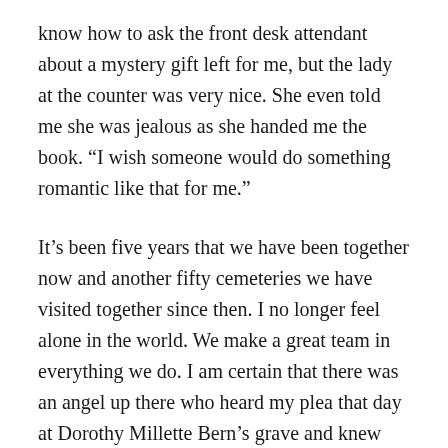know how to ask the front desk attendant about a mystery gift left for me, but the lady at the counter was very nice. She even told me she was jealous as she handed me the book. “I wish someone would do something romantic like that for me.”
It’s been five years that we have been together now and another fifty cemeteries we have visited together since then. I no longer feel alone in the world. We make a great team in everything we do. I am certain that there was an angel up there who heard my plea that day at Dorothy Millette Bern’s grave and knew that there was someone out there for me. We just hadn’t found each other yet, so we were given that little nudge in the same direction. Yes, I found love on Find-a-Grave. The key to happiness was waiting for me right there at East